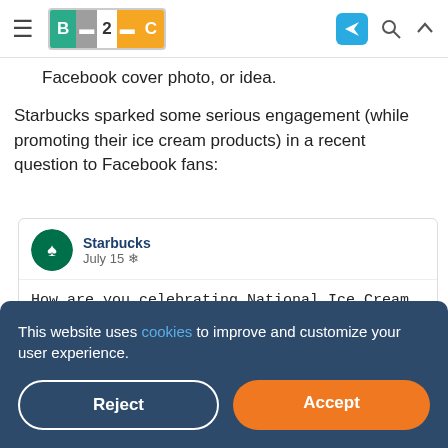B2C — Business 2 Community
Facebook cover photo, or idea.
Starbucks sparked some serious engagement (while promoting their ice cream products) in a recent question to Facebook fans:
[Figure (screenshot): Facebook post by Starbucks dated July 15, asking 'How are you celebrating National Ice Cream Day?' with an image of people with ice cream.]
This website uses cookies to improve and customize your user experience.
Reject
Accept